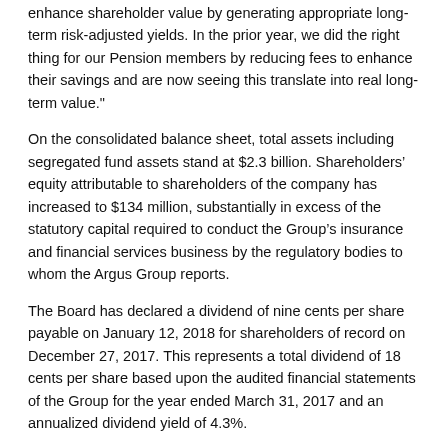enhance shareholder value by generating appropriate long-term risk-adjusted yields. In the prior year, we did the right thing for our Pension members by reducing fees to enhance their savings and are now seeing this translate into real long-term value."
On the consolidated balance sheet, total assets including segregated fund assets stand at $2.3 billion. Shareholders’ equity attributable to shareholders of the company has increased to $134 million, substantially in excess of the statutory capital required to conduct the Group’s insurance and financial services business by the regulatory bodies to whom the Argus Group reports.
The Board has declared a dividend of nine cents per share payable on January 12, 2018 for shareholders of record on December 27, 2017. This represents a total dividend of 18 cents per share based upon the audited financial statements of the Group for the year ended March 31, 2017 and an annualized dividend yield of 4.3%.
[Figure (other): Social sharing buttons: Like 0, Tweet, Share (Facebook), WhatsApp, Share]
Related Stories
Argus Group Releases 2022 Annual Report
Argus Group Share Repurchases In July
Argus Group Share Repurchases In June
Argus Extends Share Repurchase Program